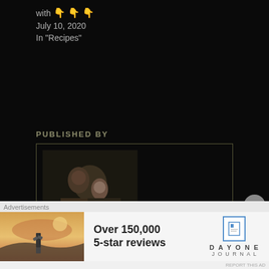with 👇👇👇
July 10, 2020
In "Recipes"
PUBLISHED BY
[Figure (photo): Author profile photo showing a woman holding a child, black and white/sepia toned image]
SREEPARNACUISINE
I'm foodie and want help all the foodies who finds
Advertisements
[Figure (photo): Advertisement for Day One Journal showing a person on a hilltop with text 'Over 150,000 5-star reviews' and the Day One Journal logo]